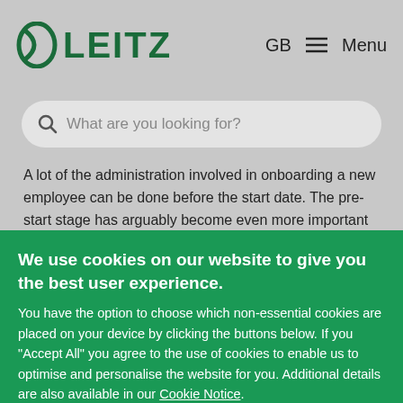LEITZ  GB  Menu
What are you looking for?
A lot of the administration involved in onboarding a new employee can be done before the start date. The pre-start stage has arguably become even more important with the rise in remote working, as it means more tasks have to be done digitally rather
We use cookies on our website to give you the best user experience. You have the option to choose which non-essential cookies are placed on your device by clicking the buttons below. If you "Accept All" you agree to the use of cookies to enable us to optimise and personalise the website for you. Additional details are also available in our Cookie Notice.
Accept All
Manage my cookies